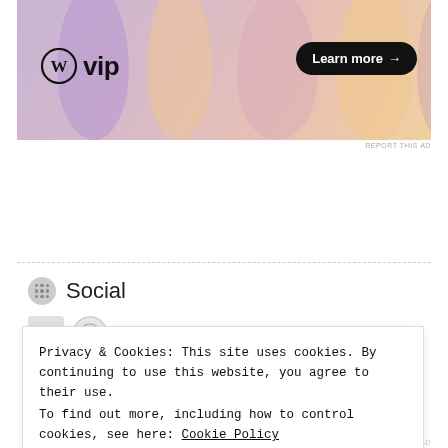[Figure (illustration): WordPress VIP advertisement banner with colorful abstract blob shapes in purple, peach, and pink tones. Shows WordPress logo (W in circle) followed by 'vip' text, and a black pill-shaped button reading 'Learn more →']
REPORT THIS AD
Social
Privacy & Cookies: This site uses cookies. By continuing to use this website, you agree to their use.
To find out more, including how to control cookies, see here: Cookie Policy
Close and accept